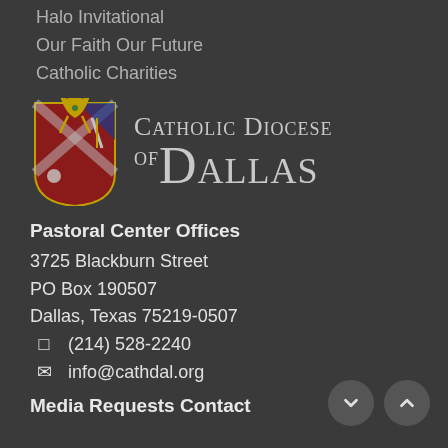Halo Invitational
Our Faith Our Future
Catholic Charities
[Figure (logo): Catholic Diocese of Dallas logo with shield/crest on left and stylized text on right]
Pastoral Center Offices
3725 Blackburn Street
PO Box 190507
Dallas, Texas 75219-0507
☎ (214) 528-2240
✉ info@cathdal.org
Media Requests Contact